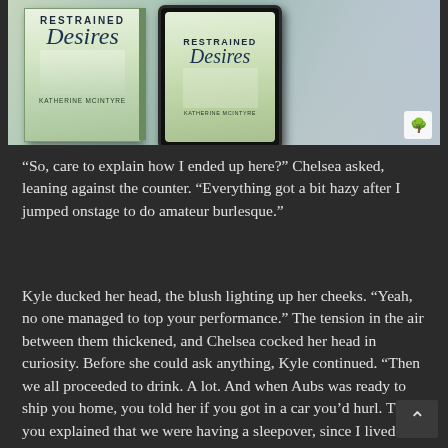[Figure (photo): Book covers for 'Restrained Desires' by Katherine McIntyre — a physical paperback and a tablet/ebook version, shown against a background of a person wearing jeans.]
“So, care to explain how I ended up here?” Chelsea asked, leaning against the counter. “Everything got a bit hazy after I jumped onstage to do amateur burlesque.”
Kyle ducked her head, the blush lighting up her cheeks. “Yeah, no one managed to top your performance.” The tension in the air between them thickened, and Chelsea cocked her head in curiosity. Before she could ask anything, Kyle continued. “Then we all proceeded to drink. A lot. And when Aubs was ready to ship you home, you told her if you got in a car you’d hurl. Then you explained that we were having a sleepover, since I lived right up the street.”